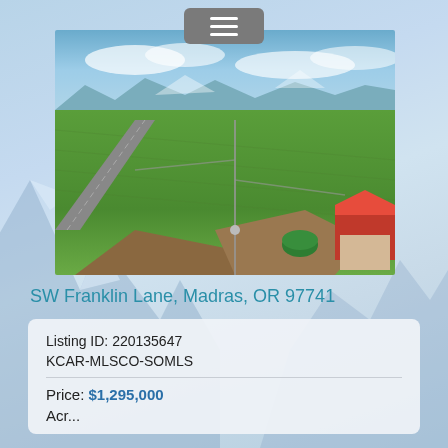[Figure (photo): Aerial drone photo of agricultural farmland along SW Franklin Lane, Madras, Oregon. Shows green irrigated fields with a center-pivot irrigation system, a road running diagonally, and a red-roofed barn in the lower right. Mountains visible in background under a cloudy blue sky.]
SW Franklin Lane, Madras, OR 97741
Listing ID: 220135647
KCAR-MLSCO-SOMLS
Price: $1,295,000